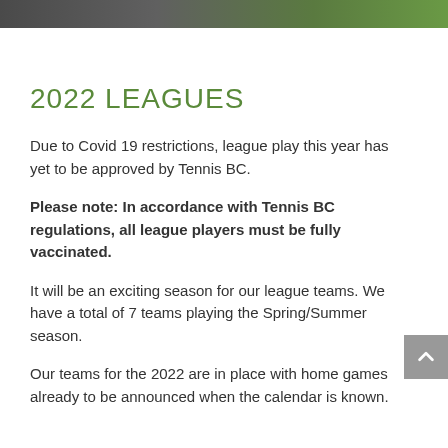[Figure (photo): Dark header bar with partial photo visible at top and green accent stripe on right]
2022 LEAGUES
Due to Covid 19 restrictions, league play this year has yet to be approved by Tennis BC.
Please note:  In accordance with Tennis BC regulations, all league players must be fully vaccinated.
It will be an exciting season for our league teams. We have a total of 7 teams playing the Spring/Summer season.
Our teams for the 2022 are in place with home games already to be announced when the calendar is known.